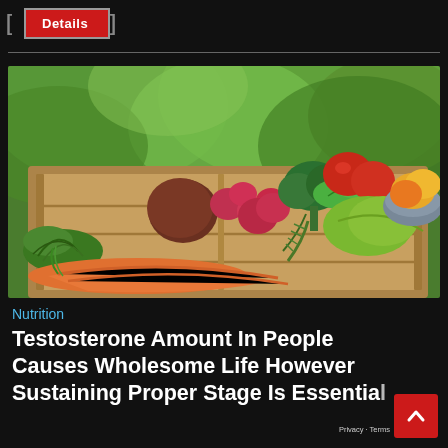Details
[Figure (photo): A wooden crate filled with fresh vegetables and fruits including carrots, radishes, beets, broccoli, tomatoes, herbs (rosemary, mint, dill), a green squash/pepper, and a bowl of fruits including oranges and yellow citrus, set outdoors on a wooden surface with blurred green foliage in the background.]
Nutrition
Testosterone Amount In People Causes Wholesome Life However Sustaining Proper Stage Is Essential